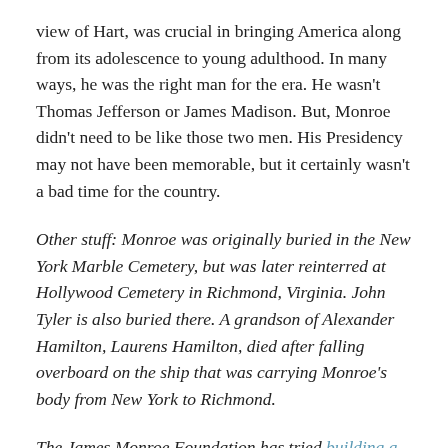view of Hart, was crucial in bringing America along from its adolescence to young adulthood. In many ways, he was the right man for the era. He wasn't Thomas Jefferson or James Madison. But, Monroe didn't need to be like those two men. His Presidency may not have been memorable, but it certainly wasn't a bad time for the country.
Other stuff: Monroe was originally buried in the New York Marble Cemetery, but was later reinterred at Hollywood Cemetery in Richmond, Virginia. John Tyler is also buried there. A grandson of Alexander Hamilton, Laurens Hamilton, died after falling overboard on the ship that was carrying Monroe's body from New York to Richmond.
The James Monroe Foundation has tried building a museum around Monroe's birthplace, but it still appears to be in the planning stages. You can visit one of James